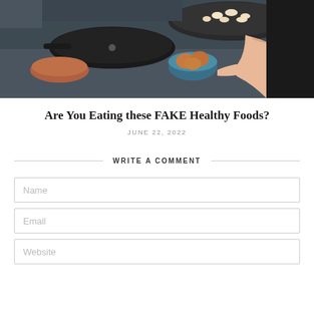[Figure (photo): Woman cooking at a stove with cast iron pans, eggs in a blue bowl, and other cooking items on the counter]
Are You Eating these FAKE Healthy Foods?
JUNE 22, 2022
WRITE A COMMENT
Name
Email
Website